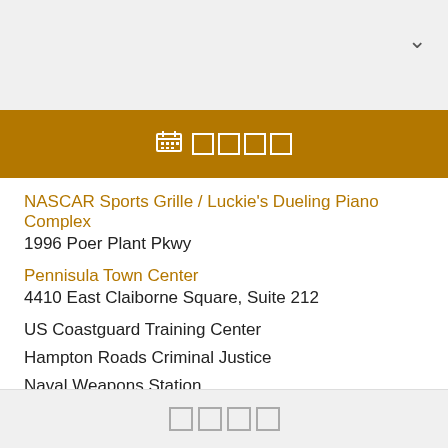▾
📅 □□□□
NASCAR Sports Grille / Luckie's Dueling Piano Complex
1996 Poer Plant Pkwy
Pennisula Town Center
4410 East Claiborne Square, Suite 212
US Coastguard Training Center
Hampton Roads Criminal Justice
Naval Weapons Station
Joint Base Langley and Eustis, Fort Eustis and Langley Air Force Base
□□□□